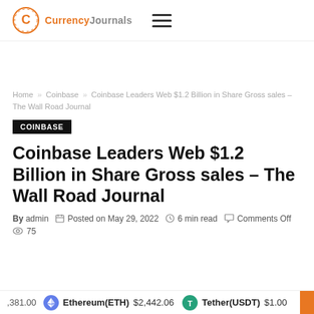Currency Journals
Home » Coinbase » Coinbase Leaders Web $1.2 Billion in Share Gross sales – The Wall Road Journal
COINBASE
Coinbase Leaders Web $1.2 Billion in Share Gross sales – The Wall Road Journal
By admin  Posted on May 29, 2022  6 min read  Comments Off  75
381.00  Ethereum(ETH) $2,442.06  Tether(USDT) $1.00